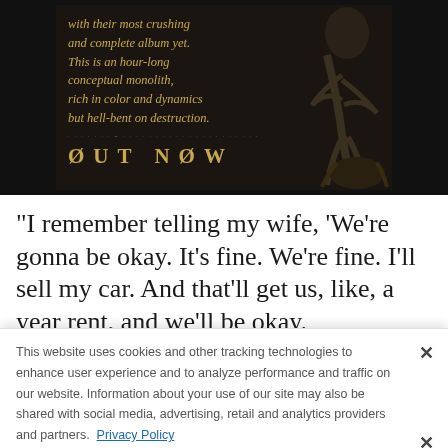[Figure (illustration): Dark album promotional image with gold/amber text on dark background reading 'with their most crushing and complete album yet. This is an hour-long conceptual monolith, rich in color and dynamics but hell-bent on destruction.' with 'OUT NOW' in large spaced lettering at the bottom, and a creature/skeleton figure illustration on the right side.]
"I remember telling my wife, 'We're gonna be okay. It's fine. We're fine. I'll sell my car. And that'll get us, like, a year rent, and we'll be okay.
This website uses cookies and other tracking technologies to enhance user experience and to analyze performance and traffic on our website. Information about your use of our site may also be shared with social media, advertising, retail and analytics providers and partners. Privacy Policy
[Figure (illustration): Alter Bridge 'Pawns & Kings' tour advertisement banner with mammoth WVW guest act and 'GET TICKETS NOW' call to action.]